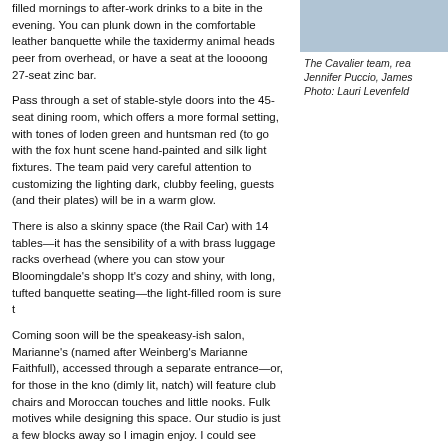filled mornings to after-work drinks to a bite in the evening. You can plunk down in the comfortable leather banquette while the taxidermy animal heads peer from overhead, or have a seat at the loooong 27-seat zinc bar.
[Figure (photo): Photo of the Cavalier team]
The Cavalier team, rea Jennifer Puccio, James Photo: Lauri Levenfeld
Pass through a set of stable-style doors into the 45-seat dining room, which offers a more formal setting, with tones of loden green and huntsman red (to go with the fox hunt scene hand-painted and silk light fixtures. The team paid very careful attention to customizing the lighting dark, clubby feeling, guests (and their plates) will be in a warm glow.
There is also a skinny space (the Rail Car) with 14 tables—it has the sensibility of a with brass luggage racks overhead (where you can stow your Bloomingdale's shopp It's cozy and shiny, with long, tufted banquette seating—the light-filled room is sure t
Coming soon will be the speakeasy-ish salon, Marianne's (named after Weinberg's Marianne Faithfull), accessed through a separate entrance—or, for those in the kno (dimly lit, natch) will feature club chairs and Moroccan touches and little nooks. Fulk motives while designing this space. Our studio is just a few blocks away so I imagin enjoy. I could see myself having breakfast meetings here or just reading a magazine
Hours for now are dinner only 5:30pm-11pm (bar opens at 5pm). From October 1st in the Blue Bar (7am-10:30am), and lunch will be added as well (11:30am-2:30pm); all-day menu available. 360 Jessie St. at 5th St., 415-321-6000.
Jul 30, 2013